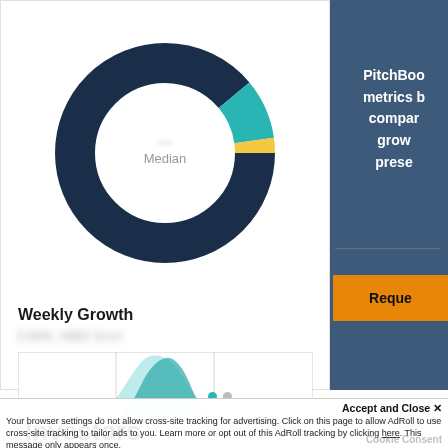[Figure (donut-chart): Partially visible donut chart with dark navy, teal, and gold segments. Center shows 'Median' label with blurred value.]
Weekly Growth
[blurred value] [blurred value]
[Figure (continuous-plot): Distribution/bell curve chart with teal and dark blue curves, showing weekly growth distribution. X-axis labels are blurred.]
PitchBoo metrics b compar grow prese
Reque
Accept and Close ✕
Your browser settings do not allow cross-site tracking for advertising. Click on this page to allow AdRoll to use cross-site tracking to tailor ads to you. Learn more or opt out of this AdRoll tracking by clicking here. This message only appears once.